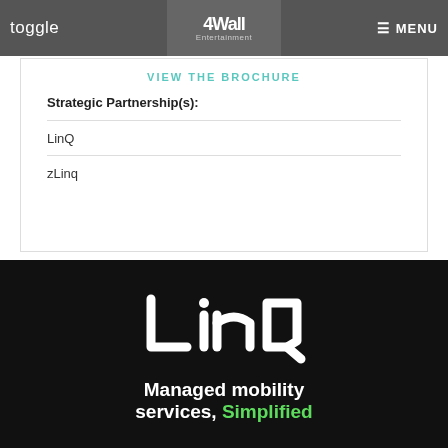toggle | 4Wall Entertainment | MENU
VIEW THE BROCHURE
Strategic Partnership(s):
LinQ
zLinq
[Figure (logo): LinQ logo on black background with text: Managed mobility services, Simplified]